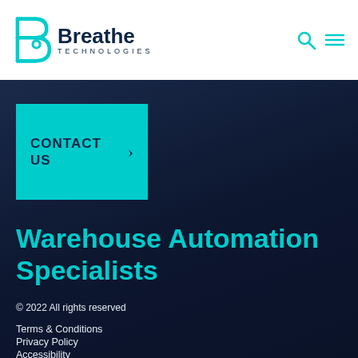[Figure (logo): Breathe Technologies logo with teal B icon and dark navy text]
CONTACT US →
Warehouse Automation Specialists
© 2022 All rights reserved
Terms & Conditions
Privacy Policy
Accessibility
[Figure (illustration): Social media icons: Twitter, YouTube, LinkedIn]